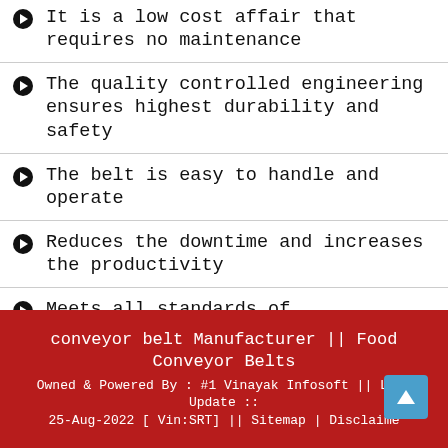It is a low cost affair that requires no maintenance
The quality controlled engineering ensures highest durability and safety
The belt is easy to handle and operate
Reduces the downtime and increases the productivity
Meets all standards of international quality regulation
conveyor belt Manufacturer || Food Conveyor Belts
Owned & Powered By : #1 Vinayak Infosoft || Last Update :: 25-Aug-2022 [ Vin:SRT] || Sitemap | Disclaimer